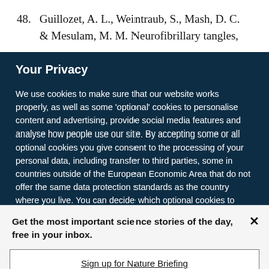48. Guillozet, A. L., Weintraub, S., Mash, D. C. & Mesulam, M. M. Neurofibrillary tangles,
Your Privacy
We use cookies to make sure that our website works properly, as well as some 'optional' cookies to personalise content and advertising, provide social media features and analyse how people use our site. By accepting some or all optional cookies you give consent to the processing of your personal data, including transfer to third parties, some in countries outside of the European Economic Area that do not offer the same data protection standards as the country where you live. You can decide which optional cookies to accept by clicking on 'Manage Settings', where you can
Get the most important science stories of the day, free in your inbox.
Sign up for Nature Briefing